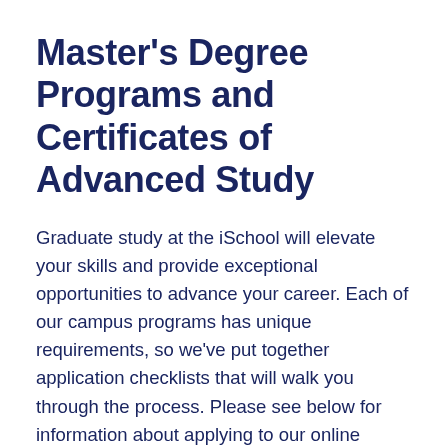Master's Degree Programs and Certificates of Advanced Study
Graduate study at the iSchool will elevate your skills and provide exceptional opportunities to advance your career. Each of our campus programs has unique requirements, so we've put together application checklists that will walk you through the process. Please see below for information about applying to our online programs.